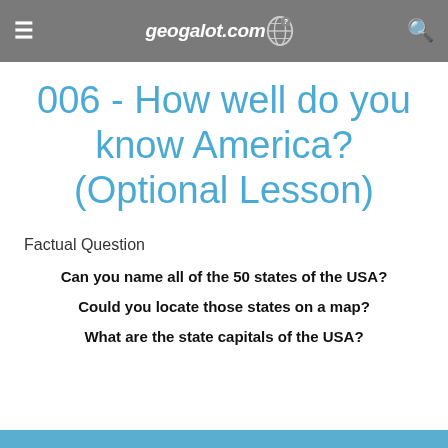≡ geogalot.com 🔍
006 - How well do you know America? (Optional Lesson)
Factual Question
Can you name all of the 50 states of the USA?
Could you locate those states on a map?
What are the state capitals of the USA?